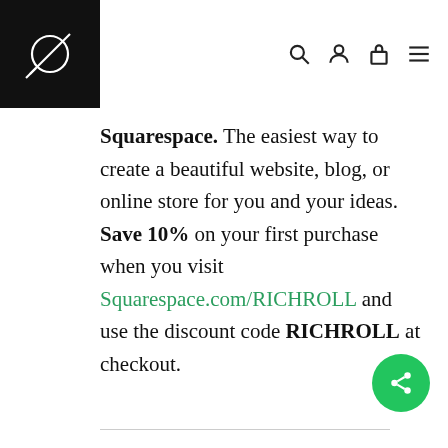[Figure (logo): Black square logo with white geometric line/circle design (Rich Roll podcast logo)]
Squarespace. The easiest way to create a beautiful website, blog, or online store for you and your ideas. Save 10% on your first purchase when you visit Squarespace.com/RICHROLL and use the discount code RICHROLL at checkout.